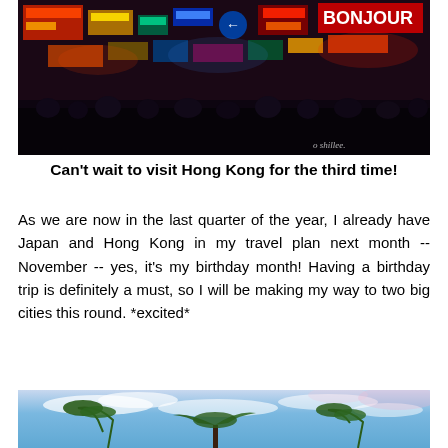[Figure (photo): Night street scene in Hong Kong with neon signs, crowds, and colorful lights. A watermark reads 'o shillee.' at bottom right.]
Can't wait to visit Hong Kong for the third time!
As we are now in the last quarter of the year, I already have Japan and Hong Kong in my travel plan next month -- November -- yes, it's my birthday month! Having a birthday trip is definitely a must, so I will be making my way to two big cities this round. *excited*
[Figure (photo): Outdoor scene with blue sky, clouds, and palm trees at bottom. Appears to be a tropical or subtropical location.]